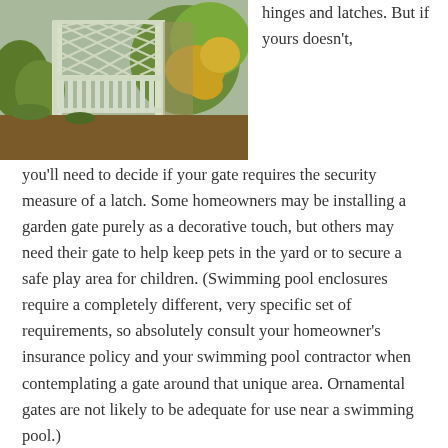[Figure (photo): A white wooden garden gate open, with lattice work at the top, set in a lush green garden with yellow flowers in the background.]
hinges and latches. But if yours doesn't, you'll need to decide if your gate requires the security measure of a latch. Some homeowners may be installing a garden gate purely as a decorative touch, but others may need their gate to help keep pets in the yard or to secure a safe play area for children. (Swimming pool enclosures require a completely different, very specific set of requirements, so absolutely consult your homeowner's insurance policy and your swimming pool contractor when contemplating a gate around that unique area. Ornamental gates are not likely to be adequate for use near a swimming pool.)
There are a number of different styles of gate locks available. Which one you choose will depend on the